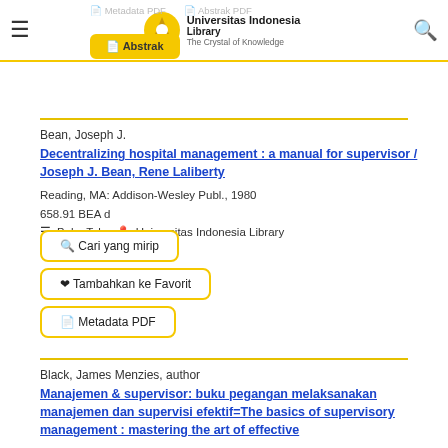Universitas Indonesia Library - The Crystal of Knowledge
Bean, Joseph J.
Decentralizing hospital management : a manual for supervisor / Joseph J. Bean, Rene Laliberty
Reading, MA: Addison-Wesley Publ., 1980
658.91 BEA d
Buku Teks  Universitas Indonesia Library
Cari yang mirip
Tambahkan ke Favorit
Metadata PDF
Black, James Menzies, author
Manajemen & supervisor: buku pegangan melaksanakan manajemen dan supervisi efektif=The basics of supervisory management : mastering the art of effective supervision